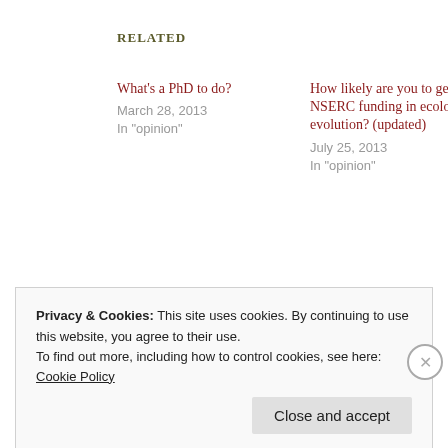Related
What's a PhD to do?
March 28, 2013
In "opinion"
How likely are you to get NSERC funding in ecology & evolution? (updated)
July 25, 2013
In "opinion"
Future of Visiting Fellowship postdoc program in doubt
January 16, 2015
In "NSERC"
Privacy & Cookies: This site uses cookies. By continuing to use this website, you agree to their use.
To find out more, including how to control cookies, see here: Cookie Policy